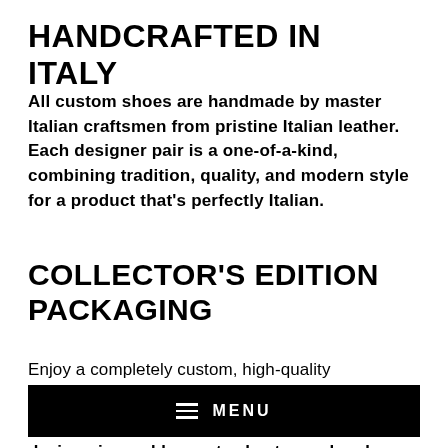HANDCRAFTED IN ITALY
All custom shoes are handmade by master Italian craftsmen from pristine Italian leather. Each designer pair is a one-of-a-kind, combining tradition, quality, and modern style for a product that's perfectly Italian.
COLLECTOR'S EDITION PACKAGING
Enjoy a completely custom, high-quality
[Figure (screenshot): Black navigation bar overlay with hamburger menu icon and MENU text in white on black background]
design piece adds great value to an already